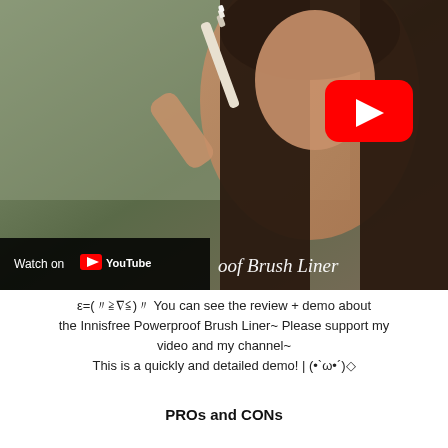[Figure (screenshot): YouTube video thumbnail showing a young woman with long dark hair holding a white eyeliner pencil, with a red YouTube play button overlay, and a 'Watch on YouTube' bar at the bottom left. Text 'oof Brush Liner' visible at bottom right.]
ε=(〃≧∇≦)〃 You can see the review + demo about the Innisfree Powerproof Brush Liner~ Please support my video and my channel~ This is a quickly and detailed demo! | (•`ω•´)◇
PROs and CONs